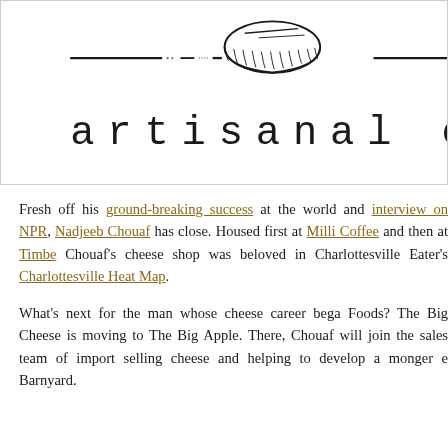[Figure (logo): Artisan cheese shop logo: decorative horizontal dashed line with a cheese wheel illustration and text 'artisanal ch' (partially cropped)]
Fresh off his ground-breaking success at the world and interview on NPR, Nadjeeb Chouaf has close. Housed first at Milli Coffee and then at Timbe Chouaf's cheese shop was beloved in Charlottesville Eater's Charlottesville Heat Map.
What's next for the man whose cheese career bega Foods? The Big Cheese is moving to The Big Apple. There, Chouaf will join the sales team of import selling cheese and helping to develop a monger e Barnyard.